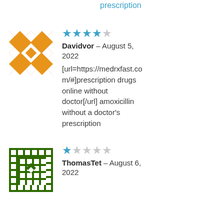prescription
[Figure (illustration): Orange geometric patterned avatar square for user Davidvor]
★★★★☆ Davidvor – August 5, 2022
[url=https://medrxfast.com/#]prescription drugs online without doctor[/url] amoxicillin without a doctor's prescription
[Figure (illustration): Green geometric patterned avatar square for user ThomasTet]
★☆☆☆☆ ThomasTet – August 6, 2022